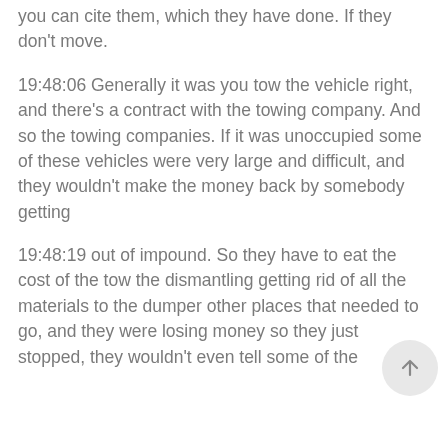you can cite them, which they have done. If they don't move.
19:48:06 Generally it was you tow the vehicle right, and there's a contract with the towing company. And so the towing companies. If it was unoccupied some of these vehicles were very large and difficult, and they wouldn't make the money back by somebody getting
19:48:19 out of impound. So they have to eat the cost of the tow the dismantling getting rid of all the materials to the dumper other places that needed to go, and they were losing money so they just stopped, they wouldn't even tell some of the